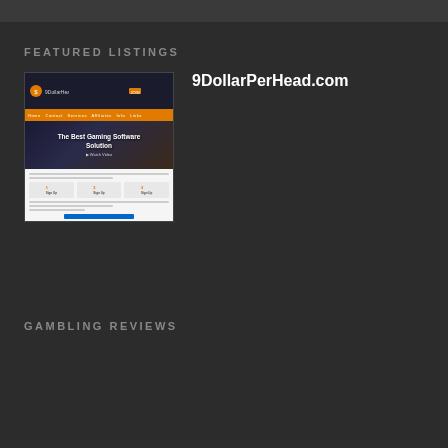FEATURED LISTINGS
[Figure (screenshot): Screenshot of 9DollarPerHead.com website showing 'The Best Gaming Software Solution' hero banner and a sign-up form below.]
9DollarPerHead.com
GAMBLING REVIEWS